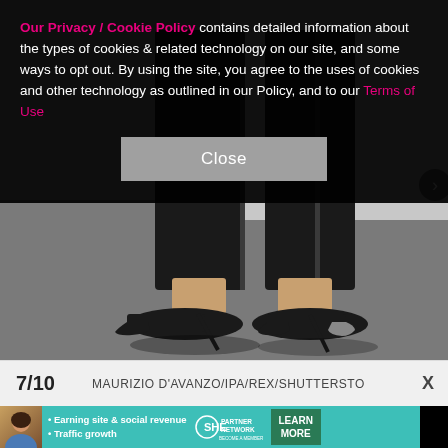[Figure (photo): Lower legs and feet of a person wearing black trousers and black high-heel stiletto pumps, standing on a gray floor against a light gray background]
Our Privacy / Cookie Policy contains detailed information about the types of cookies & related technology on our site, and some ways to opt out. By using the site, you agree to the uses of cookies and other technology as outlined in our Policy, and to our Terms of Use
Close
7/10   MAURIZIO D'AVANZO/IPA/REX/SHUTTERSTO  X
[Figure (infographic): SHE Partner Network advertisement banner: avatar photo, bullet points 'Earning site & social revenue' and 'Traffic growth', SHE PARTNER NETWORK BECOME A MEMBER logo, and LEARN MORE green button]